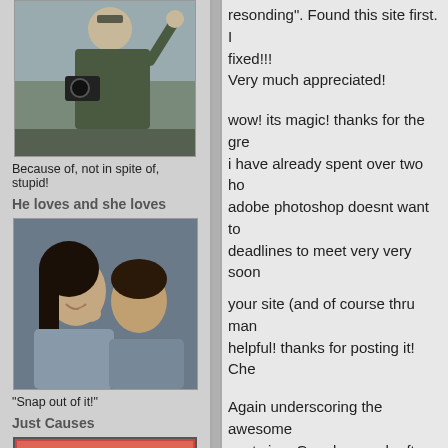[Figure (photo): Man in military/journalist gear waving, carrying camera equipment]
Because of, not in spite of, stupid!
He loves and she loves
[Figure (photo): Romantic couple close together, woman smiling, man looking at her]
"Snap out of it!"
Just Causes
[Figure (photo): Banner/button image at bottom of left column]
resonding". Found this site first. fixed!!! Very much appreciated!
wow! its magic! thanks for the gre i have already spent over two ho adobe photoshop doesnt want to deadlines to meet very very soon
your site (and of course thru man helpful! thanks for posting it! Che
Again underscoring the awesome post via a Google search after sp Photoshop 7.0 installation. I even Photoshop 7.0 and it was still "no (deleting the preferences file) di